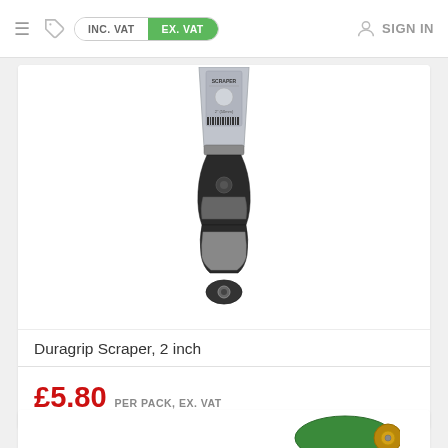INC. VAT | EX. VAT | SIGN IN
[Figure (photo): Duragrip Scraper 2 inch product photo showing a scraper with black and grey rubber handle and silver blade, with product label/barcode visible at top]
Duragrip Scraper, 2 inch
£5.80 PER PACK, EX. VAT
[Figure (photo): Partial view of a second product (green and gold tool) at bottom of page]